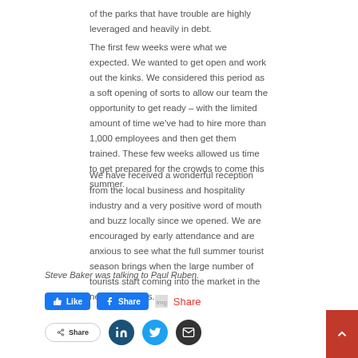of the parks that have trouble are highly leveraged and heavily in debt.
The first few weeks were what we expected. We wanted to get open and work out the kinks. We considered this period as a soft opening of sorts to allow our team the opportunity to get ready – with the limited amount of time we've had to hire more than 1,000 employees and then get them trained. These few weeks allowed us time to get prepared for the crowds to come this summer.
We have received a wonderful reception from the local business and hospitality industry and a very positive word of mouth and buzz locally since we opened. We are encouraged by early attendance and are anxious to see what the full summer tourist season brings when the large number of tourists start coming into the market in the next few weeks.
Steve Baker was talking to Paul Ruben.
[Figure (other): Social sharing buttons row 1: Like (Facebook), Share (Facebook), Share link with icon]